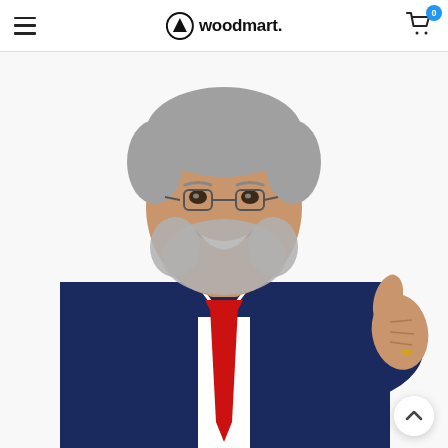woodmart. [hamburger menu] [cart icon, 0 items]
[Figure (photo): Middle-aged man with gray beard wearing a navy blue suit and red tie, smiling and giving a thumbs-up gesture toward the camera against a white background.]
[Figure (other): Back-to-top arrow button (chevron up) in bottom-right corner]